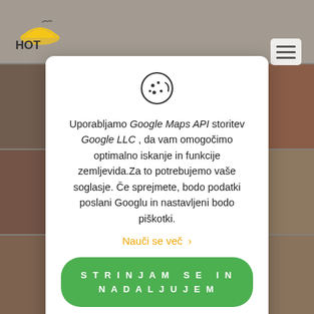[Figure (screenshot): Hotel website background with room photos in a grid, partially obscured by cookie consent modal]
Uporabljamo Google Maps API storitev Google LLC , da vam omogočimo optimalno iskanje in funkcije zemljevida.Za to potrebujemo vaše soglasje. Če sprejmete, bodo podatki poslani Googlu in nastavljeni bodo piškotki.
Nauči se več >
STRINJAM SE IN NADALJUJEM